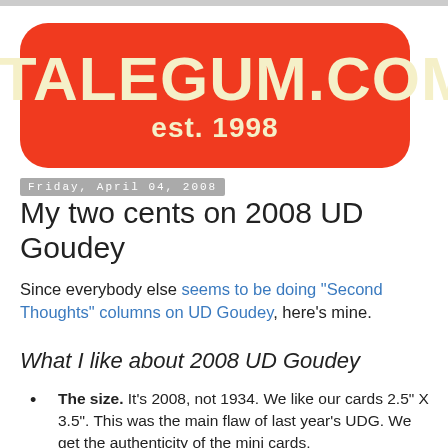[Figure (logo): STALEGUM.COM est. 1998 logo — red rounded rectangle badge with cream/yellow text]
Friday, April 04, 2008
My two cents on 2008 UD Goudey
Since everybody else seems to be doing "Second Thoughts" columns on UD Goudey, here's mine.
What I like about 2008 UD Goudey
The size. It's 2008, not 1934. We like our cards 2.5" X 3.5". This was the main flaw of last year's UDG. We get the authenticity of the mini cards,